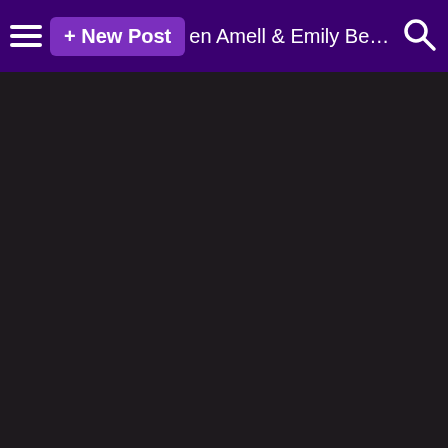+ New Post  en Amell & Emily Bett Rickards Club